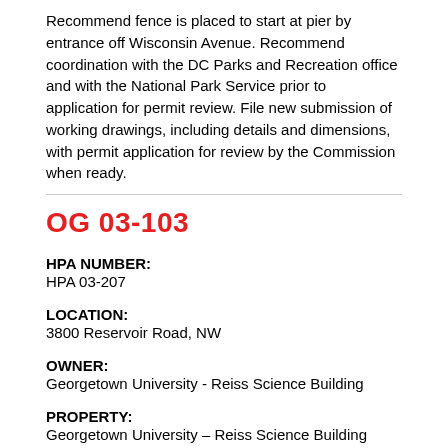Recommend fence is placed to start at pier by entrance off Wisconsin Avenue. Recommend coordination with the DC Parks and Recreation office and with the National Park Service prior to application for permit review. File new submission of working drawings, including details and dimensions, with permit application for review by the Commission when ready.
OG 03-103
HPA NUMBER:
HPA 03-207
LOCATION:
3800 Reservoir Road, NW
OWNER:
Georgetown University - Reiss Science Building
PROPERTY:
Georgetown University – Reiss Science Building
DESCRIPTION:
Cell phone tower on the roof...